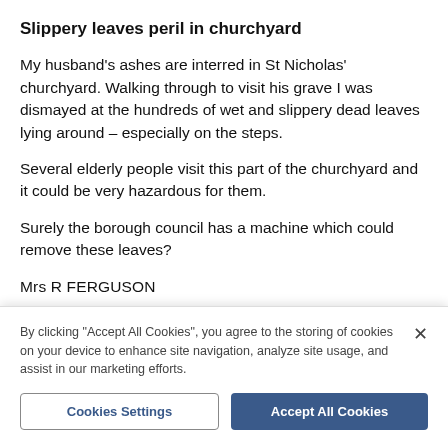Slippery leaves peril in churchyard
My husband’s ashes are interred in St Nicholas’ churchyard. Walking through to visit his grave I was dismayed at the hundreds of wet and slippery dead leaves lying around – especially on the steps.
Several elderly people visit this part of the churchyard and it could be very hazardous for them.
Surely the borough council has a machine which could remove these leaves?
Mrs R FERGUSON
By clicking “Accept All Cookies”, you agree to the storing of cookies on your device to enhance site navigation, analyze site usage, and assist in our marketing efforts.